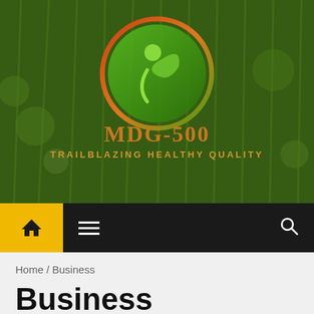[Figure (logo): MDG-500 logo on green grassy background. Circular green logo with person/leaf icon and orange ring. Text reads MDG-500 TRAILBLAZING HEALTHY QUALITY]
[Figure (screenshot): Navigation bar with yellow home button, hamburger menu icon, and search icon on black background]
Home / Business
Business
4 min read
1 year ago   Lisa D